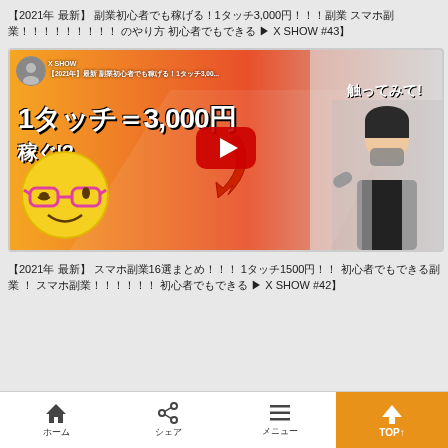【2021年 最新】 副業初心者でも稼げる！1タッチ3,000円！！！副業 スマホ副業！！！！！！！！！ のやり方 初心者でもできる ▶ X SHOW #43】
[Figure (screenshot): YouTube video thumbnail for X SHOW channel showing text '1タッチ=3,000円稼ぐ!?' and '触ってみて!' with emoji face with glasses, red play button, and masked person]
【2021年 最新】 スマホ副業16選まとめ！！！ 1タッチ1500円！！ 初心者でもできる副業 ！ スマホ副業！！！！！！ 初心者でもできる ▶ X SHOW #42】
ホーム　シェア　メニュー　TOP↑